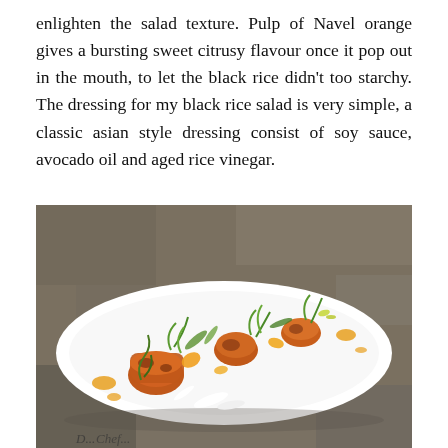enlighten the salad texture. Pulp of Navel orange gives a bursting sweet citrusy flavour once it pop out in the mouth, to let the black rice didn't too starchy. The dressing for my black rice salad is very simple, a classic asian style dressing consist of soy sauce, avocado oil and aged rice vinegar.
[Figure (photo): A white rectangular plate on a stone surface, presenting an elegantly plated dish with pieces of caramelized or roasted protein, fresh green microgreens, orange citrus segments, and white shavings, with colorful garnishes arranged artistically.]